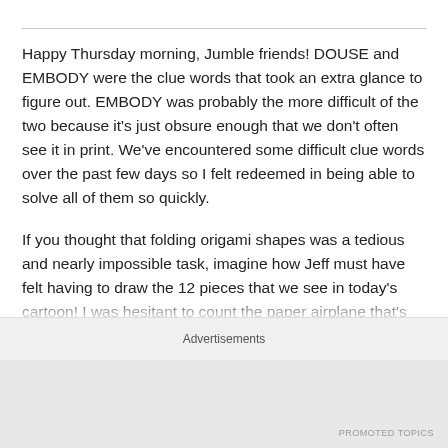Happy Thursday morning, Jumble friends! DOUSE and EMBODY were the clue words that took an extra glance to figure out. EMBODY was probably the more difficult of the two because it's just obsure enough that we don't often see it in print. We've encountered some difficult clue words over the past few days so I felt redeemed in being able to solve all of them so quickly.
If you thought that folding origami shapes was a tedious and nearly impossible task, imagine how Jeff must have felt having to draw the 12 pieces that we see in today's cartoon! I was hesitant to count the paper airplane that's
Advertisements